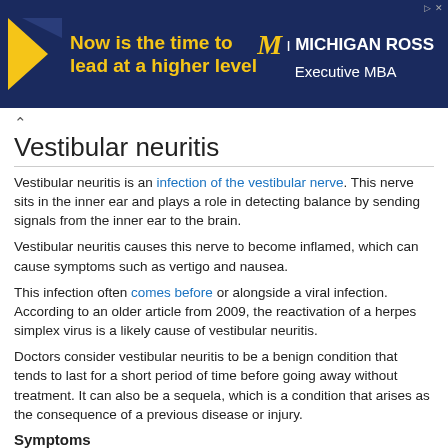[Figure (other): Michigan Ross Executive MBA advertisement banner with yellow triangle graphic, yellow text 'Now is the time to lead at a higher level', and Michigan Ross logo with 'Executive MBA' on dark navy background.]
Vestibular neuritis
Vestibular neuritis is an infection of the vestibular nerve. This nerve sits in the inner ear and plays a role in detecting balance by sending signals from the inner ear to the brain.
Vestibular neuritis causes this nerve to become inflamed, which can cause symptoms such as vertigo and nausea.
This infection often comes before or alongside a viral infection. According to an older article from 2009, the reactivation of a herpes simplex virus is a likely cause of vestibular neuritis.
Doctors consider vestibular neuritis to be a benign condition that tends to last for a short period of time before going away without treatment. It can also be a sequela, which is a condition that arises as the consequence of a previous disease or injury.
Symptoms
The different types of inner ear infections often have similar symptoms. The main difference between the symptom types is the...